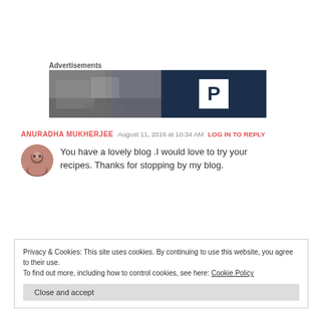Advertisements
[Figure (illustration): Advertisement banner: left half shows a blurred outdoor photo, right half is dark navy blue with a white 'P' logo box.]
ANURADHA MUKHERJEE   August 11, 2016 at 10:34 AM   LOG IN TO REPLY
You have a lovely blog .I would love to try your recipes. Thanks for stopping by my blog.
Privacy & Cookies: This site uses cookies. By continuing to use this website, you agree to their use.
To find out more, including how to control cookies, see here: Cookie Policy
Close and accept